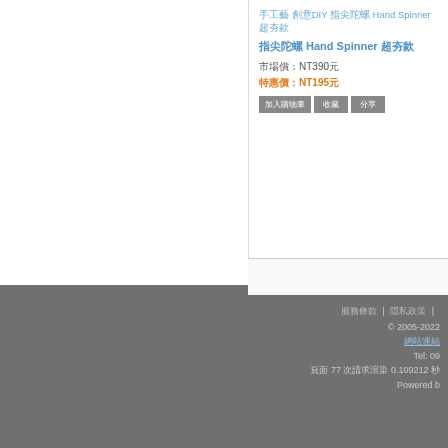手工藝 創意DIY 指尖陀螺 Hand Spinner 超夯款
spinner
市場價：NT390元
特惠價：NT195元
加入購物車 收藏 分享
服務條款 | 隱私政策 | © 2005-2022 網站連結 Tel: 09 頁面 77 次請求渲染 0.109212 秒 Powered b